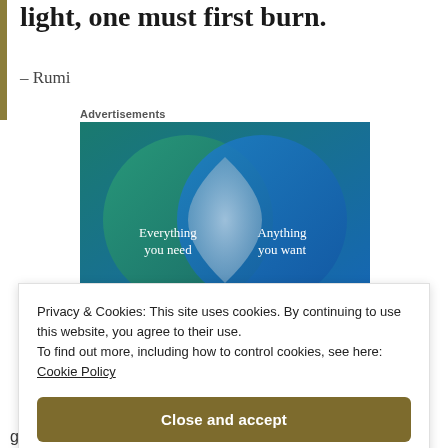light, one must first burn.
– Rumi
Advertisements
[Figure (infographic): Venn diagram advertisement showing two overlapping circles on a teal-to-blue gradient background. Left green circle labeled 'Everything you need', right blue circle labeled 'Anything you want', overlapping area is a lighter blue-grey.]
Privacy & Cookies: This site uses cookies. By continuing to use this website, you agree to their use.
To find out more, including how to control cookies, see here: Cookie Policy
Close and accept
gratitude and joy so we can muster.